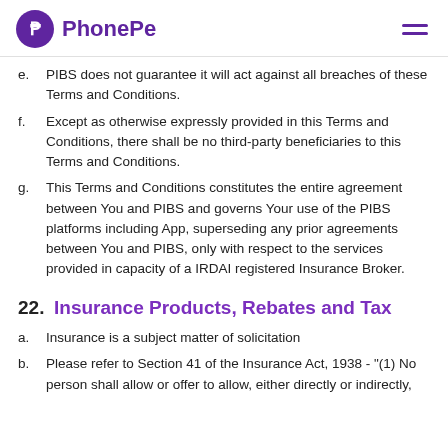PhonePe
e. PIBS does not guarantee it will act against all breaches of these Terms and Conditions.
f. Except as otherwise expressly provided in this Terms and Conditions, there shall be no third-party beneficiaries to this Terms and Conditions.
g. This Terms and Conditions constitutes the entire agreement between You and PIBS and governs Your use of the PIBS platforms including App, superseding any prior agreements between You and PIBS, only with respect to the services provided in capacity of a IRDAI registered Insurance Broker.
22. Insurance Products, Rebates and Tax
a. Insurance is a subject matter of solicitation
b. Please refer to Section 41 of the Insurance Act, 1938 - "(1) No person shall allow or offer to allow, either directly or indirectly,